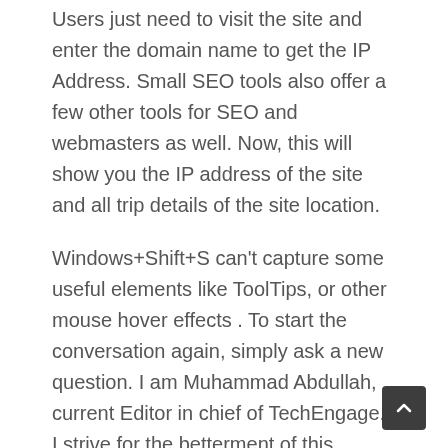Users just need to visit the site and enter the domain name to get the IP Address. Small SEO tools also offer a few other tools for SEO and webmasters as well. Now, this will show you the IP address of the site and all trip details of the site location.
Windows+Shift+S can't capture some useful elements like ToolTips, or other mouse hover effects . To start the conversation again, simply ask a new question. I am Muhammad Abdullah, current Editor in chief of TechEngage. I strive for the betterment of this awesome magazine by managing all the editorial workflows here. All applications will be decided in 3 days after applying. Key will place a “snapshot” of the current screen contents onto the Windows Clipboard.